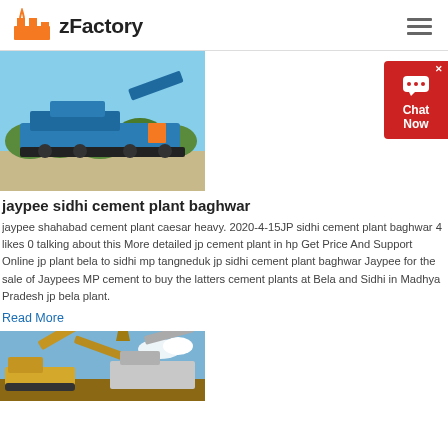zFactory
[Figure (photo): Blue mobile crushing/screening plant machine parked on gravel outdoor area with green trees in background]
jaypee sidhi cement plant baghwar
jaypee shahabad cement plant caesar heavy. 2020-4-15JP sidhi cement plant baghwar 4 likes 0 talking about this More detailed jp cement plant in hp Get Price And Support Online jp plant bela to sidhi mp tangneduk jp sidhi cement plant baghwar Jaypee for the sale of Jaypees MP cement to buy the latters cement plants at Bela and Sidhi in Madhya Pradesh jp bela plant.
Read More
[Figure (photo): Construction machinery / excavator equipment with extended arm against blue sky]